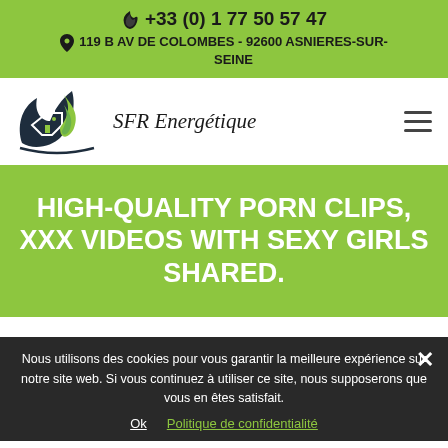+33 (0) 1 77 50 57 47
119 B AV DE COLOMBES - 92600 ASNIERES-SUR-SEINE
[Figure (logo): SFR Energétique logo with dark leaf and house icon, green flame, italic text 'SFR Energétique']
HIGH-QUALITY PORN CLIPS, XXX VIDEOS WITH SEXY GIRLS SHARED.
Nous utilisons des cookies pour vous garantir la meilleure expérience sur notre site web. Si vous continuez à utiliser ce site, nous supposerons que vous en êtes satisfait.
Ok   Politique de confidentialité